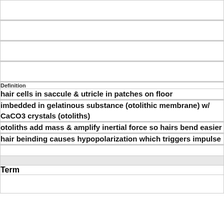| Definition | Term |
| --- | --- |
| hair cells in saccule & utricle in patches on floor |  |
| imbedded in gelatinous substance (otolithic membrane) w/ CaCO3 crystals (otoliths) |  |
| otoliths add mass & amplify inertial force so hairs bend easier |  |
| hair beinding causes hypopolarization which triggers impulse |  |